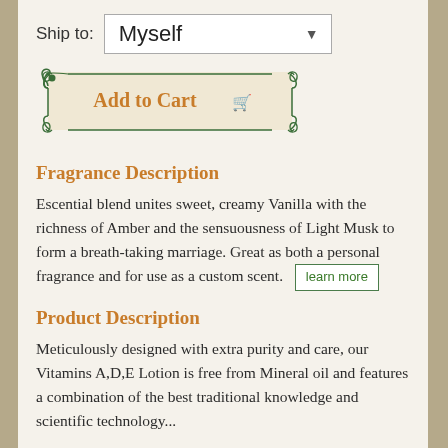Ship to: Myself
[Figure (other): Add to Cart button with decorative green ornamental border and shopping cart icon]
Fragrance Description
Escential blend unites sweet, creamy Vanilla with the richness of Amber and the sensuousness of Light Musk to form a breath-taking marriage. Great as both a personal fragrance and for use as a custom scent. learn more
Product Description
Meticulously designed with extra purity and care, our Vitamins A,D,E Lotion is free from Mineral oil and features a combination of the best traditional knowledge and scientific technology...